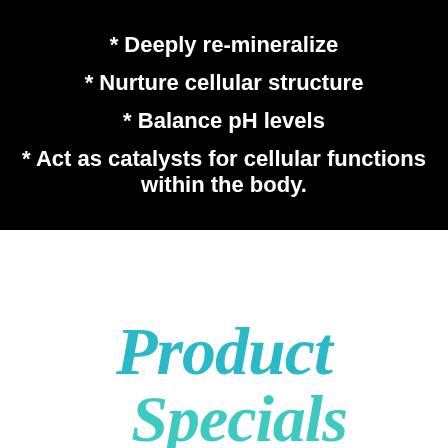* Deeply re-mineralize
* Nurture cellular structure
* Balance pH levels
* Act as catalysts for cellular functions within the body.
[Figure (illustration): Script/cursive logo reading 'Product Specials' in teal/turquoise color]